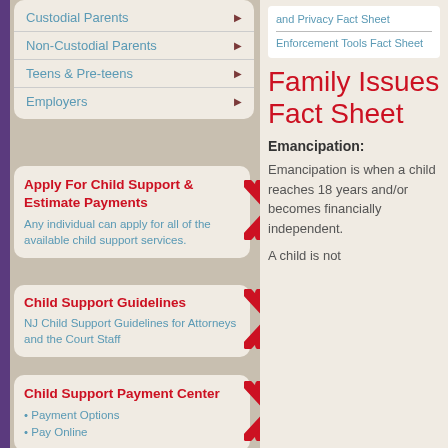Custodial Parents
Non-Custodial Parents
Teens & Pre-teens
Employers
and Privacy Fact Sheet
Enforcement Tools Fact Sheet
Family Issues Fact Sheet
Apply For Child Support & Estimate Payments
Any individual can apply for all of the available child support services.
Child Support Guidelines
NJ Child Support Guidelines for Attorneys and the Court Staff
Child Support Payment Center
Payment Options
Pay Online
Emancipation:
Emancipation is when a child reaches 18 years and/or becomes financially independent.
A child is not